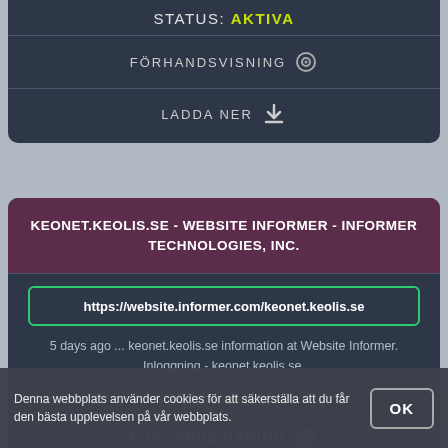STATUS: AKTIVA
FÖRHANDSVISNING
LADDA NER
KEONET.KEOLIS.SE - WEBSITE INFORMER - INFORMER TECHNOLOGIES, INC.
https://website.informer.com/keonet.keolis.se
5 days ago ... keonet.keolis.se information at Website Informer. Inloggning - keonet.keolis.se.
STATUS: AKTIVA
FÖRHANDSVISNING
Denna webbplats använder cookies för att säkerställa att du får den bästa upplevelsen på vår webbplats.